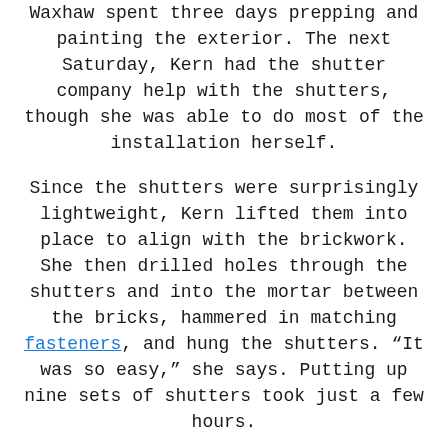Waxhaw spent three days prepping and painting the exterior. The next Saturday, Kern had the shutter company help with the shutters, though she was able to do most of the installation herself.
Since the shutters were surprisingly lightweight, Kern lifted them into place to align with the brickwork. She then drilled holes through the shutters and into the mortar between the bricks, hammered in matching fasteners, and hung the shutters. “It was so easy,” she says. Putting up nine sets of shutters took just a few hours.
Seamless Style Throughout
Inside the home, black accents, flashes of emerald, and a clean, airy white palette happily harmonize with the exterior. “It looks nice and